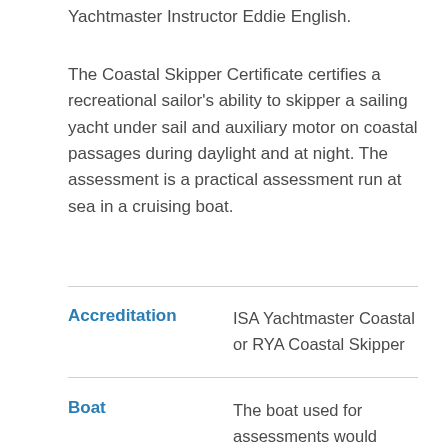Yachtmaster Instructor Eddie English.
The Coastal Skipper Certificate certifies a recreational sailor's ability to skipper a sailing yacht under sail and auxiliary motor on coastal passages during daylight and at night. The assessment is a practical assessment run at sea in a cruising boat.
|  |  |
| --- | --- |
| Accreditation | ISA Yachtmaster Coastal or RYA Coastal Skipper |
| Boat | The boat used for assessments would normally be a sailing yacht with an auxiliary engine that is at least 7 meters in overall length and which is suitable for cruising. The yacht must be equipped |